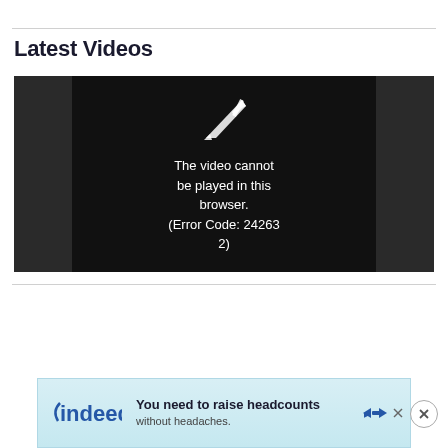Latest Videos
[Figure (screenshot): Video player showing error message: 'The video cannot be played in this browser. (Error Code: 242632)']
[Figure (screenshot): Indeed advertisement banner: 'You need to raise headcounts without headaches.']